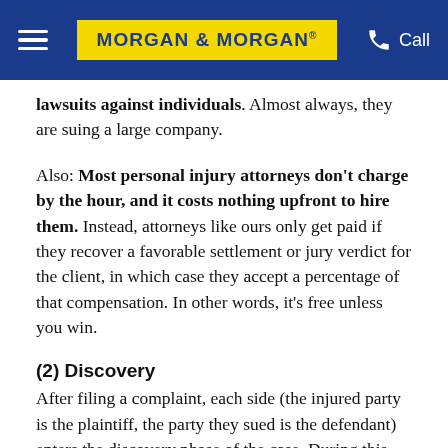MORGAN & MORGAN | Call
lawsuits against individuals. Almost always, they are suing a large company.
Also: Most personal injury attorneys don't charge by the hour, and it costs nothing upfront to hire them. Instead, attorneys like ours only get paid if they recover a favorable settlement or jury verdict for the client, in which case they accept a percentage of that compensation. In other words, it's free unless you win.
(2) Discovery
After filing a complaint, each side (the injured party is the plaintiff, the party they sued is the defendant) enters the discovery phase of the case. During this period, the plaintiff's attorney will collect evidence, consult experts and witnesses, examine police and medical